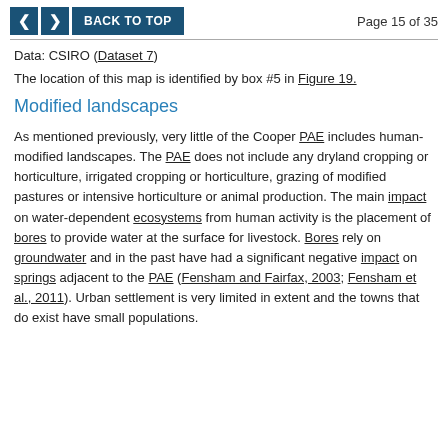< > BACK TO TOP | Page 15 of 35
Data: CSIRO (Dataset 7)
The location of this map is identified by box #5 in Figure 19.
Modified landscapes
As mentioned previously, very little of the Cooper PAE includes human-modified landscapes. The PAE does not include any dryland cropping or horticulture, irrigated cropping or horticulture, grazing of modified pastures or intensive horticulture or animal production. The main impact on water-dependent ecosystems from human activity is the placement of bores to provide water at the surface for livestock. Bores rely on groundwater and in the past have had a significant negative impact on springs adjacent to the PAE (Fensham and Fairfax, 2003; Fensham et al., 2011). Urban settlement is very limited in extent and the towns that do exist have small populations.